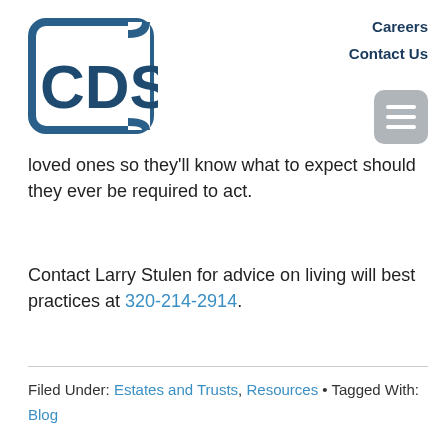[Figure (logo): CDS company logo — square bracket shape with 'CDS' text in dark blue]
Careers  Contact Us
loved ones so they'll know what to expect should they ever be required to act.
Contact Larry Stulen for advice on living will best practices at 320-214-2914.
Filed Under: Estates and Trusts, Resources · Tagged With: Blog